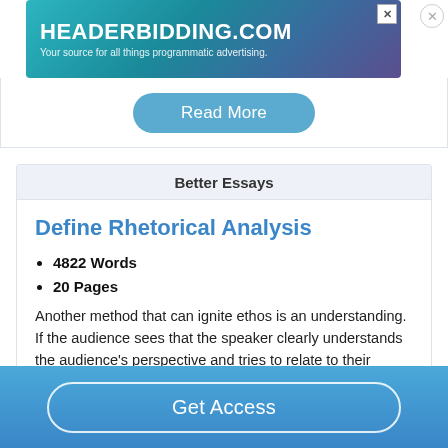[Figure (screenshot): Advertisement banner for headerbidding.com with teal/purple gradient background. Text reads HEADERBIDDING.COM and Your source for all things programmatic advertising.]
Read More
Better Essays
Define Rhetorical Analysis
4822 Words
20 Pages
Another method that can ignite ethos is an understanding. If the audience sees that the speaker clearly understands the audience's perspective and tries to relate to their
Get Access